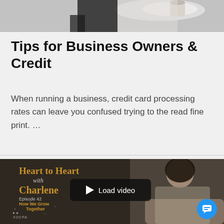[Figure (photo): Top portion of a photo showing a table setting with a white cup/plate, partially cropped]
Tips for Business Owners & Credit
When running a business, credit card processing rates can leave you confused trying to the read fine print. …
[Figure (screenshot): Video thumbnail for 'Heart to Heart with Charlene' episode showing a woman seated, with a 'Load video' play button overlay. Episode text: 'How We [Grow] Together'. XOCPA logo at bottom left.]